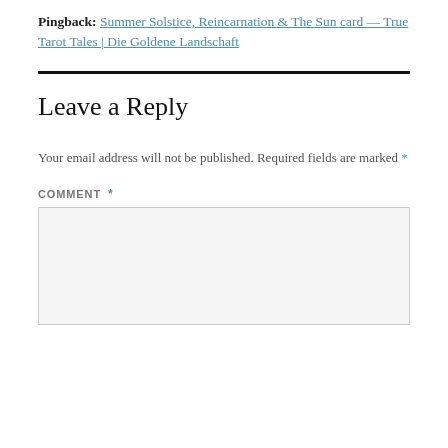Pingback: Summer Solstice, Reincarnation & The Sun card — True Tarot Tales | Die Goldene Landschaft
Leave a Reply
Your email address will not be published. Required fields are marked *
COMMENT *